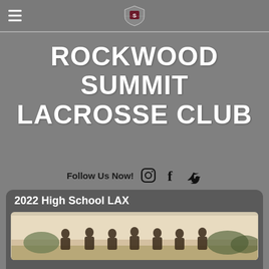Rockwood Summit Lacrosse Club - navigation header with logo
ROCKWOOD SUMMIT LACROSSE CLUB
Follow Us Now!
Register   Login
2022 High School LAX
[Figure (photo): Group photo of lacrosse players standing together outdoors]